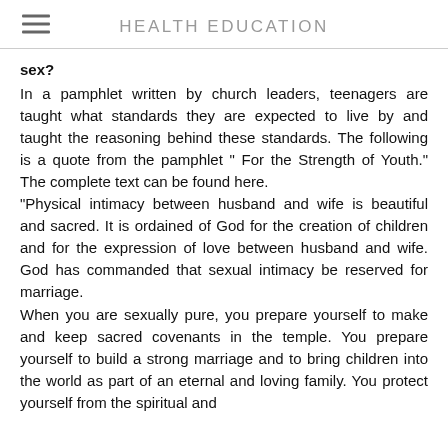HEALTH EDUCATION
sex?
In a pamphlet written by church leaders, teenagers are taught what standards they are expected to live by and taught the reasoning behind these standards. The following is a quote from the pamphlet “ For the Strength of Youth.” The complete text can be found here.
“Physical intimacy between husband and wife is beautiful and sacred. It is ordained of God for the creation of children and for the expression of love between husband and wife. God has commanded that sexual intimacy be reserved for marriage.
When you are sexually pure, you prepare yourself to make and keep sacred covenants in the temple. You prepare yourself to build a strong marriage and to bring children into the world as part of an eternal and loving family. You protect yourself from the spiritual and